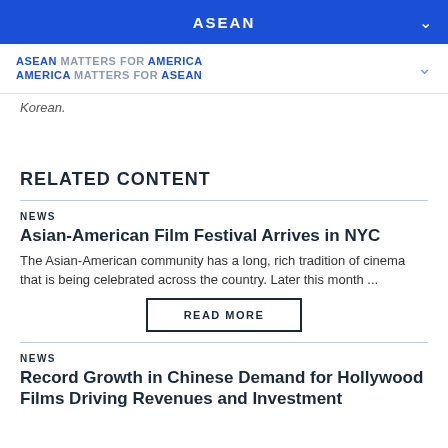ASEAN
ASEAN MATTERS FOR AMERICA AMERICA MATTERS FOR ASEAN
Korean.
RELATED CONTENT
NEWS
Asian-American Film Festival Arrives in NYC
The Asian-American community has a long, rich tradition of cinema that is being celebrated across the country. Later this month ...
READ MORE
NEWS
Record Growth in Chinese Demand for Hollywood Films Driving Revenues and Investment